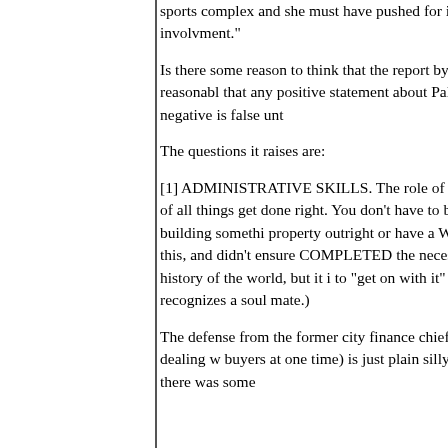sports complex and she must have pushed for it. involvment."
Is there some reason to think that the report by th exactly a flaming-left liberal screed) isn't reasonabl that any positive statement about Palin or McCai while anything even MILDLY negative is false unt
The questions it raises are:
[1] ADMINISTRATIVE SKILLS. The role of CEO, government, is to oversee the performance of all things get done right. You don't have to be a lawy spend any substantial money on building somethi property outright or have a WRITTEN agreement price. If Palin didn't realize this, and didn't ensure COMPLETED the necessary paperwork, then she horrible mistake in the history of the world, but it i to "get on with it" and not worry about petty details why McCain recognizes a soul mate.)
The defense from the former city finance chief (w Conservancy for "causing confusion" by dealing w buyers at one time) is just plain silly Can these Ch really say with a straight face that there was some